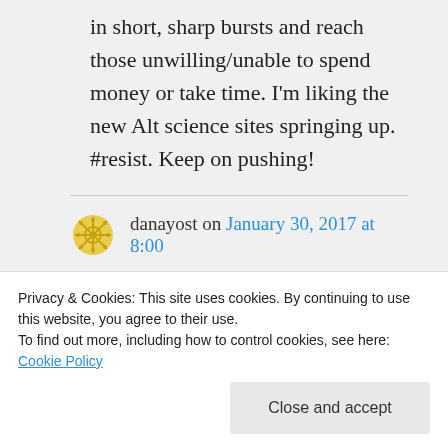in short, sharp bursts and reach those unwilling/unable to spend money or take time. I'm liking the new Alt science sites springing up. #resist. Keep on pushing!
danayost on January 30, 2017 at 8:00
Thanks! Yes, time. We have it. We need to use it more wisely. I like the
Privacy & Cookies: This site uses cookies. By continuing to use this website, you agree to their use.
To find out more, including how to control cookies, see here: Cookie Policy